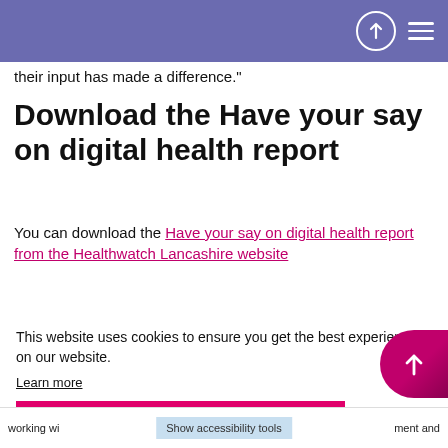their input has made a difference."
Download the Have your say on digital health report
You can download the Have your say on digital health report from the Healthwatch Lancashire website
This website uses cookies to ensure you get the best experience on our website.
Learn more
Got it!
working wi… …ment and